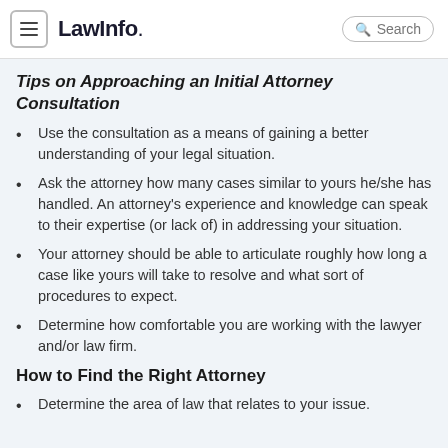LawInfo. Search
Tips on Approaching an Initial Attorney Consultation
Use the consultation as a means of gaining a better understanding of your legal situation.
Ask the attorney how many cases similar to yours he/she has handled. An attorney's experience and knowledge can speak to their expertise (or lack of) in addressing your situation.
Your attorney should be able to articulate roughly how long a case like yours will take to resolve and what sort of procedures to expect.
Determine how comfortable you are working with the lawyer and/or law firm.
How to Find the Right Attorney
Determine the area of law that relates to your issue.